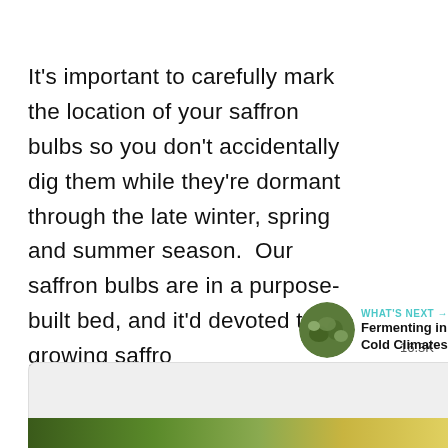It's important to carefully mark the location of your saffron bulbs so you don't accidentally dig them while they're dormant through the late winter, spring and summer season.  Our saffron bulbs are in a purpose-built bed, and it'd devoted to growing saffro so that makes it easy.
[Figure (other): Heart/like button (teal circle with heart icon) with 16.3K count, and a share button below]
WHAT'S NEXT → Fermenting in Cold Climates
[Figure (photo): Circular thumbnail photo of green foliage, associated with 'Fermenting in Cold Climates' article]
[Figure (photo): Bottom image strip showing green/yellow garden scene, partially visible]